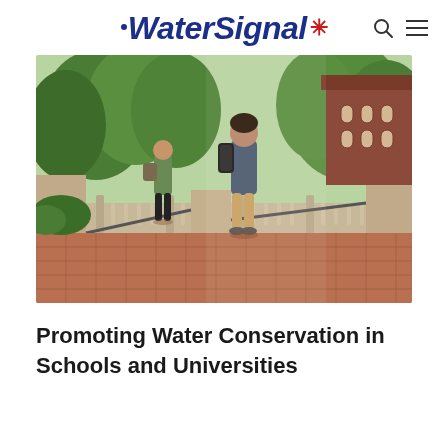WaterSignal
[Figure (photo): Two students walking away on a brick pathway on a university campus, surrounded by green trees and ornate stone architecture including a balustrade railing. A historic red-brick building is visible in the background.]
Promoting Water Conservation in Schools and Universities